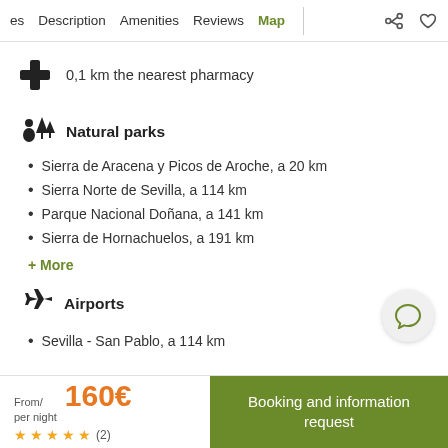es  Description  Amenities  Reviews  Map
0,1 km the nearest pharmacy
Natural parks
Sierra de Aracena y Picos de Aroche, a 20 km
Sierra Norte de Sevilla, a 114 km
Parque Nacional Doñana, a 141 km
Sierra de Hornachuelos, a 191 km
+ More
Airports
Sevilla - San Pablo, a 114 km
From/ per night  160€  ★★★★★ (2)  Booking and information request